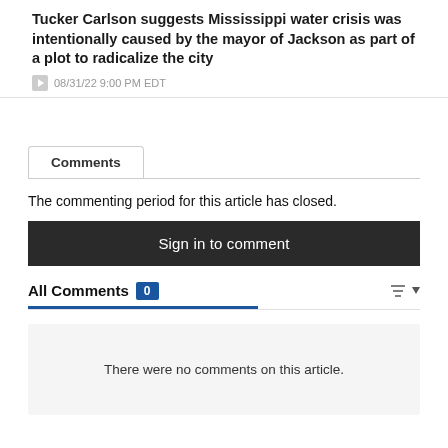Tucker Carlson suggests Mississippi water crisis was intentionally caused by the mayor of Jackson as part of a plot to radicalize the city
08/31/22 9:00 PM EDT
Comments
The commenting period for this article has closed.
Sign in to comment
All Comments 0
There were no comments on this article.